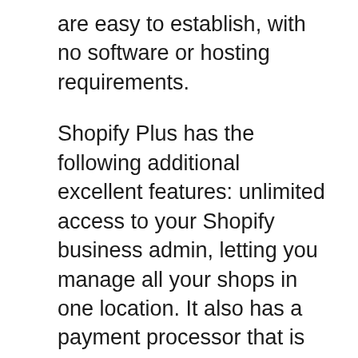are easy to establish, with no software or hosting requirements.
Shopify Plus has the following additional excellent features: unlimited access to your Shopify business admin, letting you manage all your shops in one location. It also has a payment processor that is compatible with all major credit cards. And for those who want a bit more control, you can opt for the Shopify App Store. It gives you access to a number of other useful Shopify features such as Google Analytics, customer and product data, and an integrated shopping cart.
Shopify apps permit you to build a store on the Shopify platform for all sorts of business. There are Shopify Store templates, Shopify